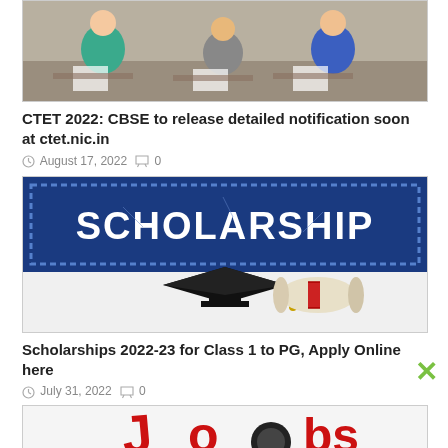[Figure (photo): Students sitting at desks writing an exam in a classroom]
CTET 2022: CBSE to release detailed notification soon at ctet.nic.in
August 17, 2022   0
[Figure (photo): Scholarship stamp image with a graduation cap and diploma scroll on white background]
Scholarships 2022-23 for Class 1 to PG, Apply Online here
July 31, 2022   0
[Figure (photo): Partial image showing red and black letters/graphics, appears to be a job or education related banner]